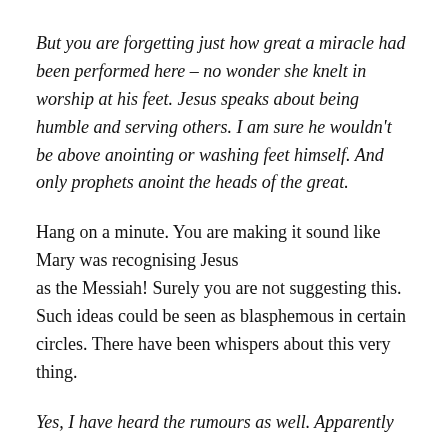But you are forgetting just how great a miracle had been performed here – no wonder she knelt in worship at his feet. Jesus speaks about being humble and serving others. I am sure he wouldn't be above anointing or washing feet himself. And only prophets anoint the heads of the great.
Hang on a minute. You are making it sound like Mary was recognising Jesus as the Messiah! Surely you are not suggesting this. Such ideas could be seen as blasphemous in certain circles. There have been whispers about this very thing.
Yes, I have heard the rumours as well. Apparently